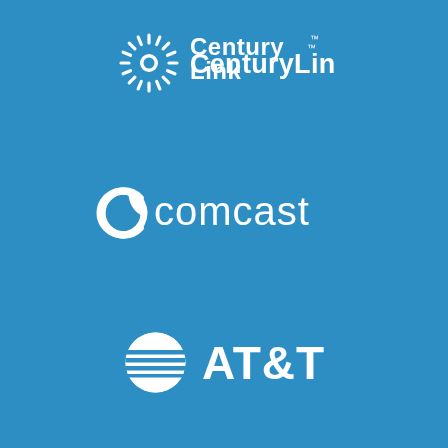[Figure (logo): CenturyLink logo — sunburst icon with white rays and text 'CenturyLink' with TM mark, white on blue background]
[Figure (logo): Comcast logo — stylized C shape with text 'comcast', white on blue background]
[Figure (logo): AT&T logo — globe icon with horizontal stripes and text 'AT&T', white on blue background]